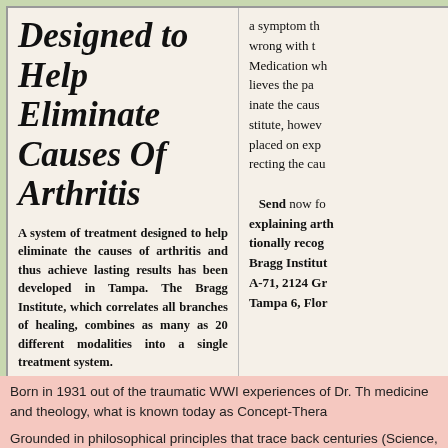Designed to Help Eliminate Causes Of Arthritis
A system of treatment designed to help eliminate the causes of arthritis and thus achieve lasting results has been developed in Tampa. The Bragg Institute, which correlates all branches of healing, combines as many as 20 different modalities into a single treatment system.
a symptom th wrong with t Medication wh lieves the pa inate the caus stitute, howev placed on exp recting the cau Send now fo explaining arth tionally recog Bragg Institut A-71, 2124 Gr Tampa 6, Flor
Born in 1931 out of the traumatic WWI experiences of Dr. Th medicine and theology, what is known today as Concept-Thera
Grounded in philosophical principles that trace back centuries (Science, Metaphysics, Theology, Psychology, Sociology, and nearly seven decades, where it has proven itself a viable, work tenure, Concept Therapy has provided an anchor of support f